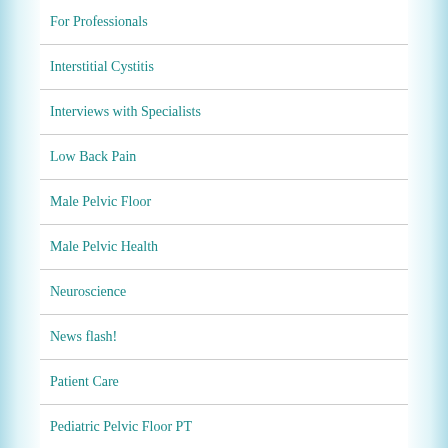For Professionals
Interstitial Cystitis
Interviews with Specialists
Low Back Pain
Male Pelvic Floor
Male Pelvic Health
Neuroscience
News flash!
Patient Care
Pediatric Pelvic Floor PT